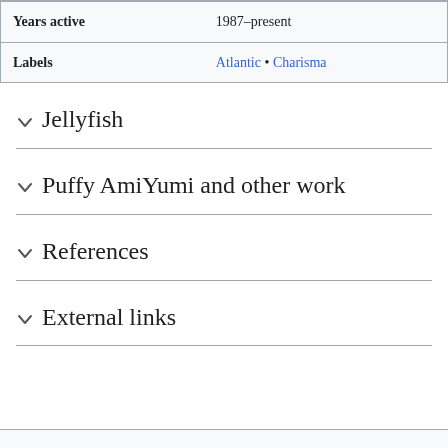|  |  |
| --- | --- |
| Years active | 1987–present |
| Labels | Atlantic • Charisma |
Jellyfish
Puffy AmiYumi and other work
References
External links